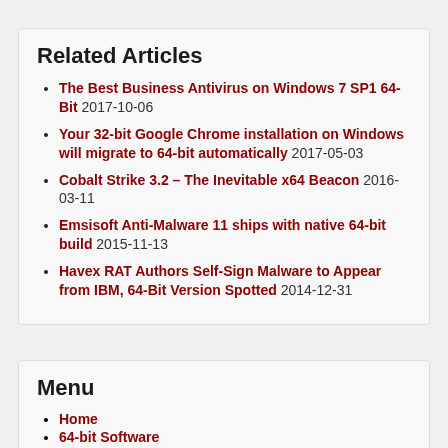Related Articles
The Best Business Antivirus on Windows 7 SP1 64-Bit 2017-10-06
Your 32-bit Google Chrome installation on Windows will migrate to 64-bit automatically 2017-05-03
Cobalt Strike 3.2 – The Inevitable x64 Beacon 2016-03-11
Emsisoft Anti-Malware 11 ships with native 64-bit build 2015-11-13
Havex RAT Authors Self-Sign Malware to Appear from IBM, 64-Bit Version Spotted 2014-12-31
Menu
Home
64-bit Software